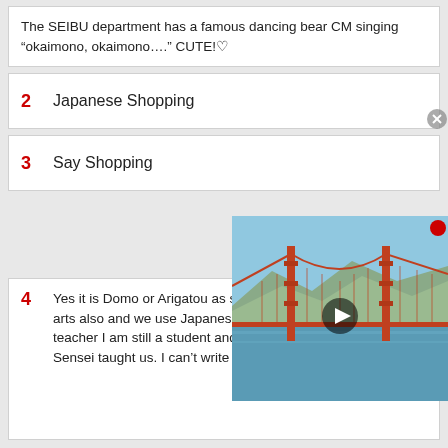The SEIBU department has a famous dancing bear CM singing “okaimono, okaimono….” CUTE!♡
2  Japanese Shopping
3  Say Shopping
[Figure (photo): Photo of Golden Gate Bridge with blue sky and water, with a video play button overlay]
4  Yes it is Domo or Arigatou as said a Doumo, that much martial arts also and we use Japanese in the class only I am not a teacher I am still a student and this is how my Japanese Sensei taught us. I can’t write out the kanji on my keyboard.